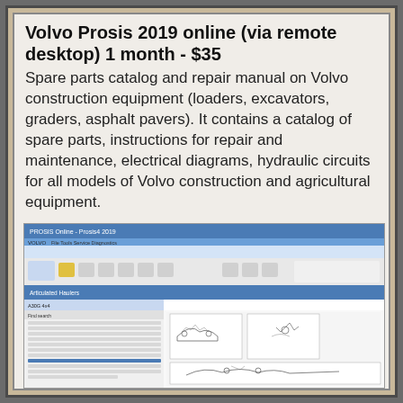Volvo Prosis 2019 online (via remote desktop) 1 month - $35
Spare parts catalog and repair manual on Volvo construction equipment (loaders, excavators, graders, asphalt pavers). It contains a catalog of spare parts, instructions for repair and maintenance, electrical diagrams, hydraulic circuits for all models of Volvo construction and agricultural equipment.
[Figure (screenshot): Screenshot of Volvo Prosis 2019 software interface showing parts catalog with a list of items on the left and technical diagrams/hydraulic circuit drawings on the right]